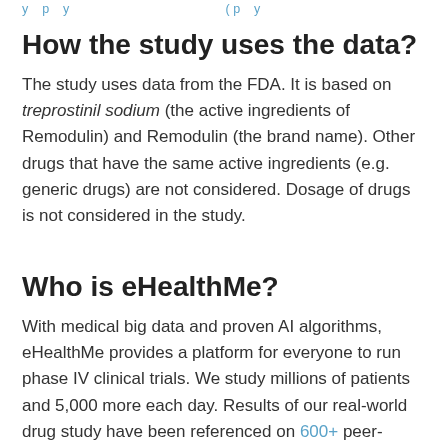y p y (p y
How the study uses the data?
The study uses data from the FDA. It is based on treprostinil sodium (the active ingredients of Remodulin) and Remodulin (the brand name). Other drugs that have the same active ingredients (e.g. generic drugs) are not considered. Dosage of drugs is not considered in the study.
Who is eHealthMe?
With medical big data and proven AI algorithms, eHealthMe provides a platform for everyone to run phase IV clinical trials. We study millions of patients and 5,000 more each day. Results of our real-world drug study have been referenced on 600+ peer-reviewed medical publications, including The Lancet, Mayo Clinic Proceedings, and Nature. Our analysis